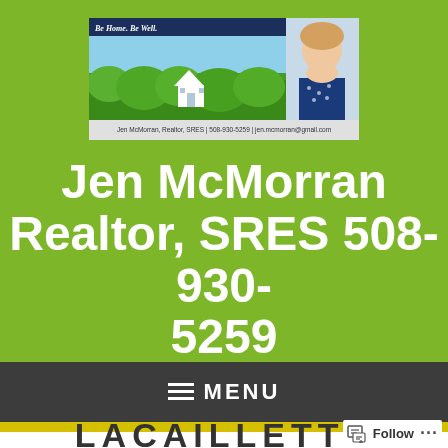[Figure (photo): Banner image for Jen McMorran Realtor with tagline 'Be Home. Be Well.' showing a house icon over green shrubs with a photo of a smiling woman, and footer text: Jen McMorran, Realtor, SRES | 508-930-5259 | jen.mcmorran@gmail.com]
Jen McMorran Realtor, SRES 508-930-5259
≡ MENU
LACAILLETTE